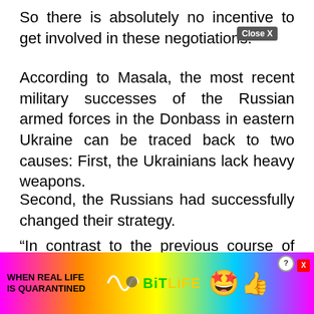So there is absolutely no incentive to get involved in these negotiations.”
According to Masala, the most recent military successes of the Russian armed forces in the Donbass in eastern Ukraine can be traced back to two causes: First, the Ukrainians lack heavy weapons.
Second, the Russians had successfully changed their strategy.
“In contrast to the previous course of the war, they are no longer advancing on broad sections of the front, but are concentrating their t[...] of the
[Figure (screenshot): Advertisement banner for BitLife game with colorful rainbow background, emoji characters, and text 'WHEN REAL LIFE IS QUARANTINED' with a close button overlay]